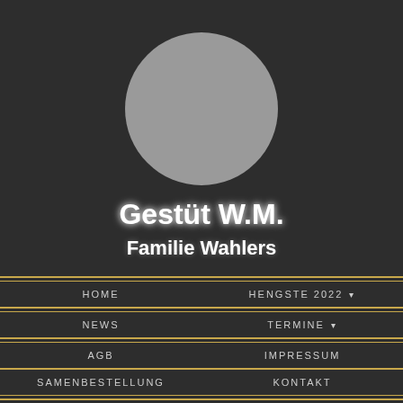[Figure (illustration): Gray circular profile avatar placeholder on dark background]
Gestüt W.M.
Familie Wahlers
HOME
HENGSTE 2022 ▾
NEWS
TERMINE ▾
AGB
IMPRESSUM
SAMENBESTELLUNG
KONTAKT
ENGLISH ▾